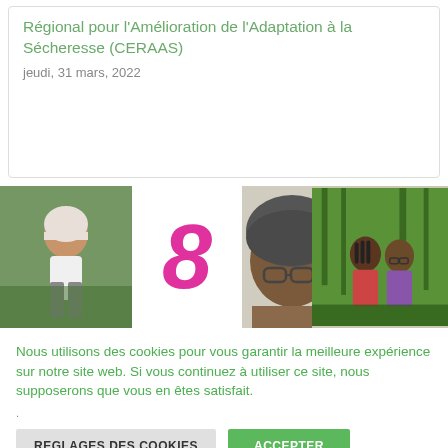Régional pour l'Amélioration de l'Adaptation à la Sécheresse (CERAAS)
jeudi, 31 mars, 2022
[Figure (photo): Composite image with three photos of African women and a large pink stylized number 8 in the center]
Nous utilisons des cookies pour vous garantir la meilleure expérience sur notre site web. Si vous continuez à utiliser ce site, nous supposerons que vous en êtes satisfait.
.
REGLAGES DES COOKIES   ACCEPTER